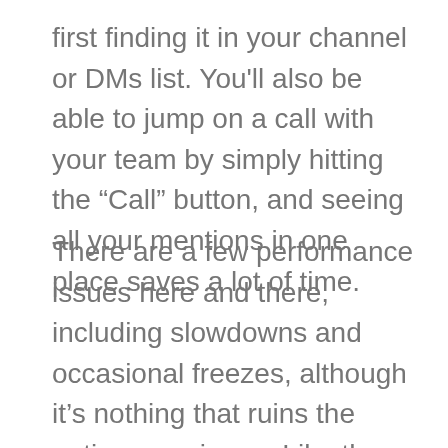first finding it in your channel or DMs list. You'll also be able to jump on a call with your team by simply hitting the “Call” button, and seeing all your mentions in one place saves a lot of time.
There are a few performance issues here and there, including slowdowns and occasional freezes, although it’s nothing that ruins the entire experience. Like the desktop version, Slack issues frequent updates, so most problems get dealt with promptly; again, just don’t expect a flawless result.